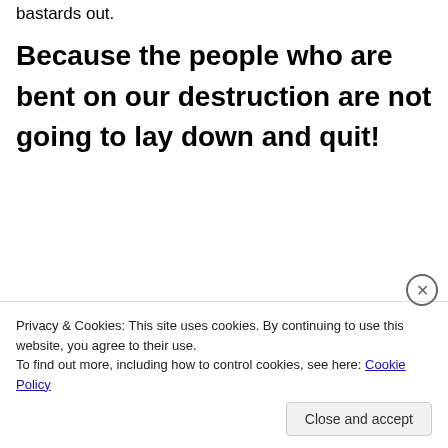bastards out.
Because the people who are bent on our destruction are not going to lay down and quit!
Privacy & Cookies: This site uses cookies. By continuing to use this website, you agree to their use.
To find out more, including how to control cookies, see here: Cookie Policy
Close and accept